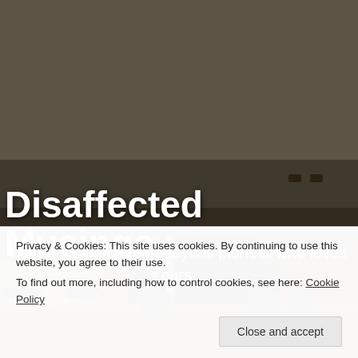[Figure (photo): Photograph of model toy cars on a shelf/table: a yellow classic car on the left, a black muscle car in the center with white racing stripes, a red sports car on the right, and a fuzzy/furry round object above the black car. Background is a blurred gray-brown room. Text overlaid on image.]
Disaffected Musings
I am a disaffected Moneyball pioneer who loves cars.
Privacy & Cookies: This site uses cookies. By continuing to use this website, you agree to their use.
To find out more, including how to control cookies, see here: Cookie Policy
Close and accept